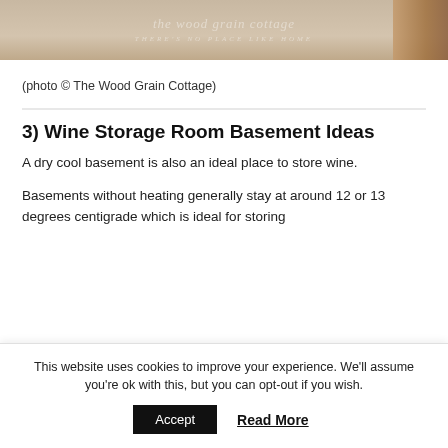[Figure (photo): Top portion of a photo showing a wooden furniture piece (likely a crate or rack) on a light-colored floor with a script text overlay reading 'the wood grain cottage' and 'there's no place like home']
(photo © The Wood Grain Cottage)
3) Wine Storage Room Basement Ideas
A dry cool basement is also an ideal place to store wine.
Basements without heating generally stay at around 12 or 13 degrees centigrade which is ideal for storing
This website uses cookies to improve your experience. We'll assume you're ok with this, but you can opt-out if you wish.